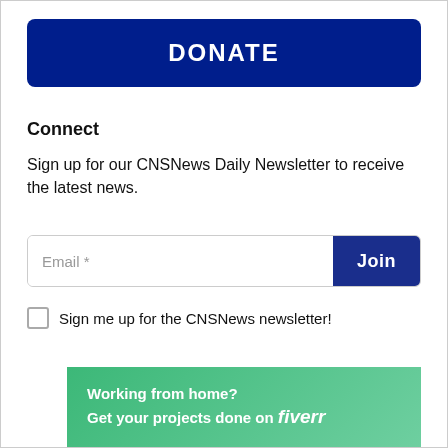DONATE
Connect
Sign up for our CNSNews Daily Newsletter to receive the latest news.
Email *
Join
Sign me up for the CNSNews newsletter!
[Figure (infographic): Fiverr advertisement banner: Working from home? Get your projects done on fiverr]